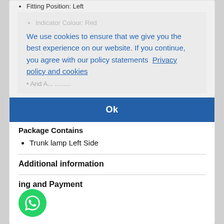Fitting Position: Left
(faded bullet text)
We use cookies to ensure that we give you the best experience on our website. If you continue, you agree with our policy statements  Privacy policy and cookies
(faded line)
Ok
Package Contains
Trunk lamp Left Side
Additional information
ing and Payment